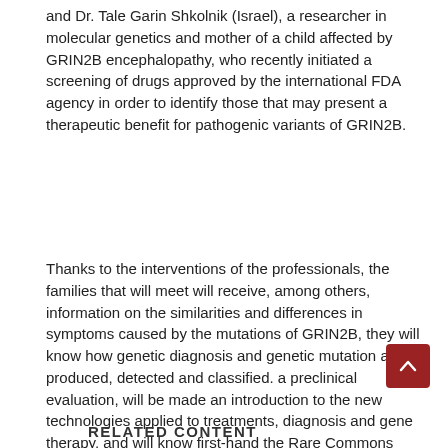and Dr. Tale Garin Shkolnik (Israel), a researcher in molecular genetics and mother of a child affected by GRIN2B encephalopathy, who recently initiated a screening of drugs approved by the international FDA agency in order to identify those that may present a therapeutic benefit for pathogenic variants of GRIN2B.
Thanks to the interventions of the professionals, the families that will meet will receive, among others, information on the similarities and differences in symptoms caused by the mutations of GRIN2B, they will know how genetic diagnosis and genetic mutation are produced, detected and classified. a preclinical evaluation, will be made an introduction to the new technologies applied to treatments, diagnosis and gene therapy, and will know first-hand the Rare Commons platform (www.rarecommons.org/en), a research project on uncommon pediatric diseases, where families and doctors generate a scientific knowledge about a particular disease.
RELATED CONTENT